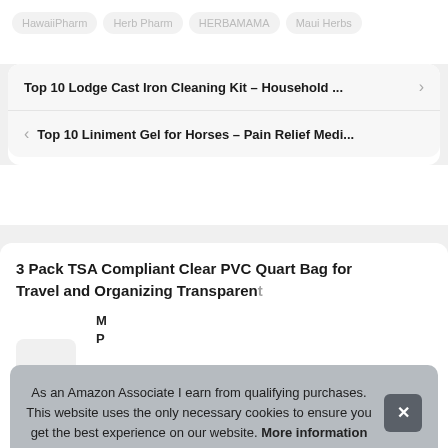HawaiiPharm
Herb Pharm
HERBAMAMA
Maui Herbs
Top 10 Lodge Cast Iron Cleaning Kit – Household ...
Top 10 Liniment Gel for Horses – Pain Relief Medi...
3 Pack TSA Compliant Clear PVC Quart Bag for Travel and Organizing Transparent
As an Amazon Associate I earn from qualifying purchases. This website uses the only necessary cookies to ensure you get the best experience on our website. More information